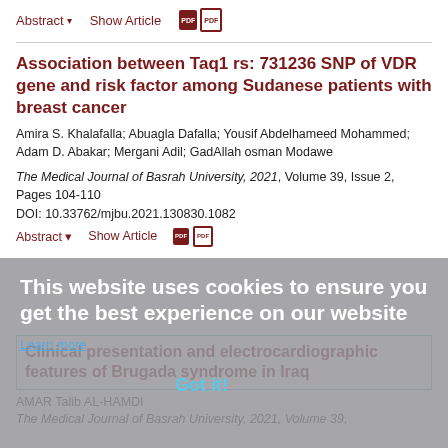Abstract ▾   Show Article
Association between Taq1 rs: 731236 SNP of VDR gene and risk factor among Sudanese patients with breast cancer
Amira S. Khalafalla; Abuagla Dafalla; Yousif Abdelhameed Mohammed; Adam D. Abakar; Mergani Adil; GadAllah osman Modawe
The Medical Journal of Basrah University, 2021, Volume 39, Issue 2, Pages 104-110
DOI: 10.33762/mjbu.2021.130830.1082
This website uses cookies to ensure you get the best experience on our website
Learn more
Clinical presentation and electrocardiographic features of Brugada syndrome in Iraq
AMAR Talib AL-HAMDI
The Medical Journal of Basrah University, 2021, Volume 39,